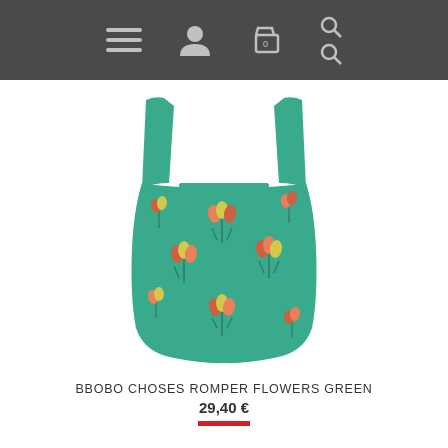Navigation header with menu, account, cart, and search icons
[Figure (photo): Green baby romper/bodysuit with tulip flower print pattern, sleeveless with wide shoulder straps and a square neckline]
BBOBO CHOSES ROMPER FLOWERS GREEN
29,40 €